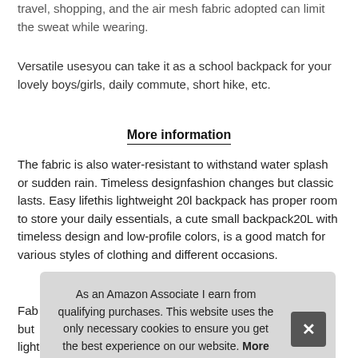travel, shopping, and the air mesh fabric adopted can limit the sweat while wearing.
Versatile usesyou can take it as a school backpack for your lovely boys/girls, daily commute, short hike, etc.
More information
The fabric is also water-resistant to withstand water splash or sudden rain. Timeless designfashion changes but classic lasts. Easy lifethis lightweight 20l backpack has proper room to store your daily essentials, a cute small backpack20L with timeless design and low-profile colors, is a good match for various styles of clothing and different occasions.
Fab... but... light... inclu...
As an Amazon Associate I earn from qualifying purchases. This website uses the only necessary cookies to ensure you get the best experience on our website. More information